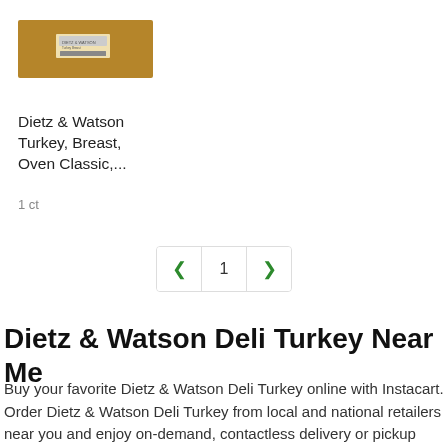[Figure (photo): Product image of Dietz & Watson Turkey Breast Oven Classic in a brown rectangular box packaging with a small label]
Dietz & Watson Turkey, Breast, Oven Classic,...
1 ct
< 1 >
Dietz & Watson Deli Turkey Near Me
Buy your favorite Dietz & Watson Deli Turkey online with Instacart. Order Dietz & Watson Deli Turkey from local and national retailers near you and enjoy on-demand, contactless delivery or pickup within 2 hours.